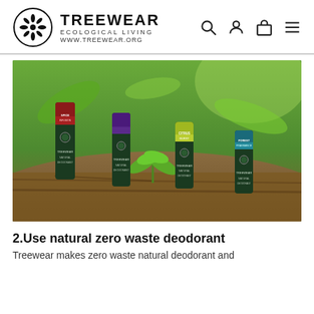TREEWEAR ECOLOGICAL LIVING WWW.TREEWEAR.ORG
[Figure (photo): Four Treewear Natural Deodorant sticks in different scents (Spice Infusion, another purple-capped, Citrus Burst, Forest Fragrance) standing upright in natural woodland setting with green leaves and soil/bark background.]
2.Use natural zero waste deodorant
Treewear makes zero waste natural deodorant and